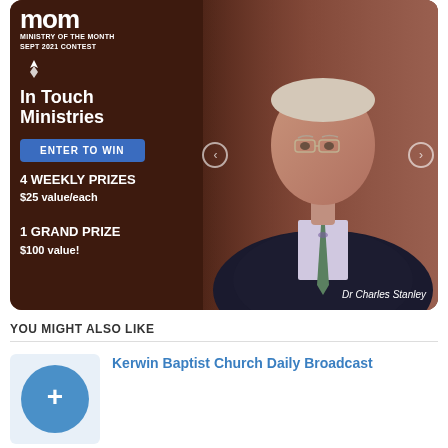[Figure (infographic): Ministry of the Month September 2021 Contest promotional banner for In Touch Ministries featuring Dr Charles Stanley. Dark brown background with white text, blue 'Enter to Win' button, prizes listed, and photo of Dr Charles Stanley on the right.]
YOU MIGHT ALSO LIKE
Kerwin Baptist Church Daily Broadcast